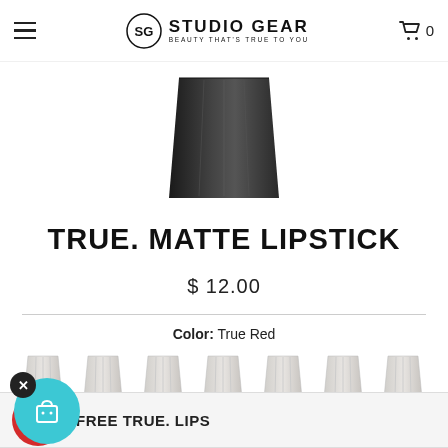Studio Gear — Beauty That's True to You | Cart: 0
[Figure (photo): Bottom portion of a black lipstick bullet/case against white background]
TRUE. MATTE LIPSTICK
$ 12.00
Color: True Red
[Figure (other): Row of lipstick color swatches (light/nude tones)]
FREE TRUE. LIPS
Quantity
- 1 +